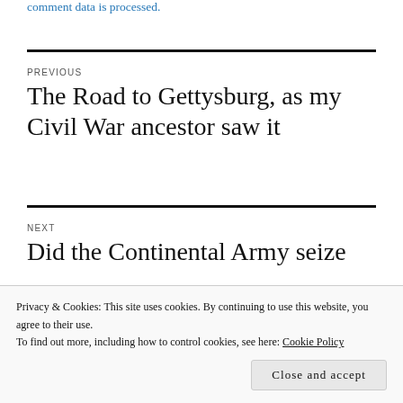comment data is processed.
PREVIOUS
The Road to Gettysburg, as my Civil War ancestor saw it
NEXT
Did the Continental Army seize
Privacy & Cookies: This site uses cookies. By continuing to use this website, you agree to their use.
To find out more, including how to control cookies, see here: Cookie Policy
Close and accept